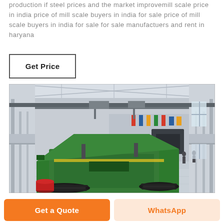production if steel prices and the market improvemill scale price in india price of mill scale buyers in india for sale price of mill scale buyers in india for sale for sale manufactuers and rent in haryana
Get Price
[Figure (photo): Interior of a large industrial factory or warehouse with steel structure, overhead cranes, and heavy green machinery (appears to be a shredder or conveyor) on a reflective grey floor, with workers and equipment visible in the background.]
Get a Quote
WhatsApp